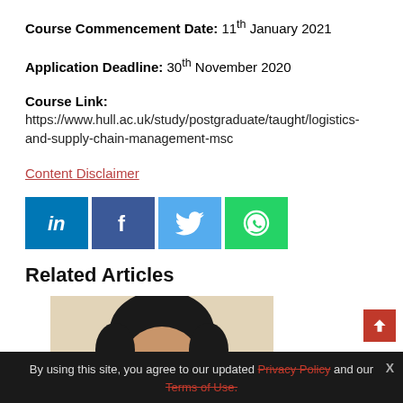Course Commencement Date: 11th January 2021
Application Deadline: 30th November 2020
Course Link:
https://www.hull.ac.uk/study/postgraduate/taught/logistics-and-supply-chain-management-msc
Content Disclaimer
[Figure (other): Social sharing buttons: LinkedIn, Facebook, Twitter, WhatsApp]
Related Articles
[Figure (photo): Partial photo of a person with dark hair against a light background]
By using this site, you agree to our updated Privacy Policy and our Terms of Use.